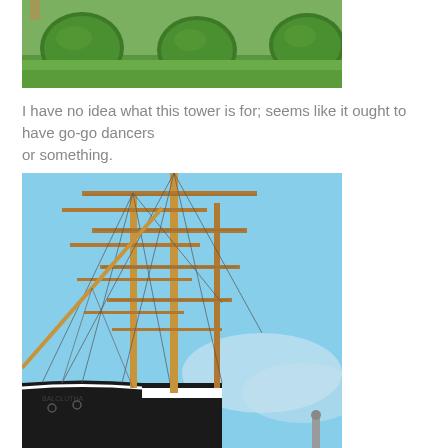[Figure (photo): Photo of neatly trimmed round bushes and green lawn in front of a structure, partially cropped at top]
I have no idea what this tower is for; seems like it ought to have go-go dancers
or something.
[Figure (photo): Photo of a tall sailing ship with multiple masts, rigging, and yardarms against a blue sky, viewed from close up showing the bow and masts]